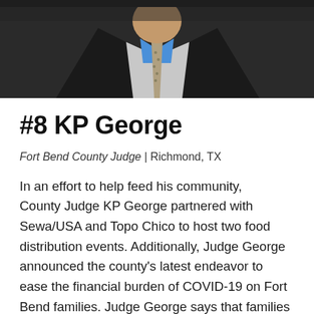[Figure (photo): Photo of KP George wearing a dark suit jacket and blue shirt with a patterned tie, cropped to show torso and lower face/neck area.]
#8 KP George
Fort Bend County Judge | Richmond, TX
In an effort to help feed his community, County Judge KP George partnered with Sewa/USA and Topo Chico to host two food distribution events. Additionally, Judge George announced the county's latest endeavor to ease the financial burden of COVID-19 on Fort Bend families. Judge George says that families financially